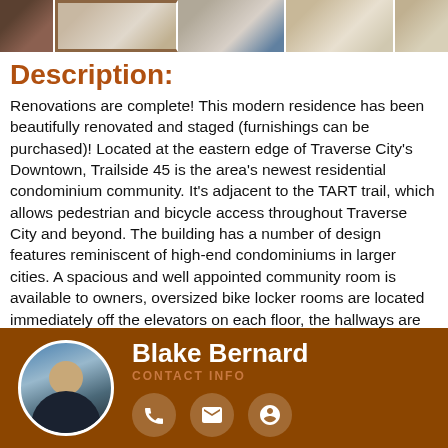[Figure (photo): Strip of 5 property interior thumbnail photos at top of page]
Description:
Renovations are complete! This modern residence has been beautifully renovated and staged (furnishings can be purchased)! Located at the eastern edge of Traverse City's Downtown, Trailside 45 is the area's newest residential condominium community. It's adjacent to the TART trail, which allows pedestrian and bicycle access throughout Traverse City and beyond. The building has a number of design features reminiscent of high-end condominiums in larger cities. A spacious and well appointed community room is available to owners, oversized bike locker rooms are located immediately off the elevators on each floor, the hallways are high and wide creating a wonderful scale, and the units
[Figure (photo): Agent contact footer with photo of Blake Bernard, name, CONTACT INFO label, and phone/email/profile icons on brown background]
Blake Bernard
CONTACT INFO